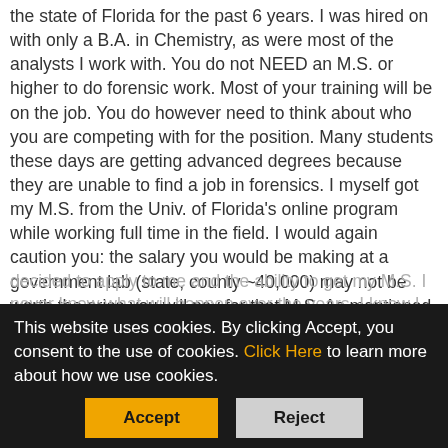the state of Florida for the past 6 years.  I was hired on with only a B.A. in Chemistry, as were most of the analysts I work with.  You do not NEED an M.S. or higher to do forensic work.  Most of your training will be on the job.  You do however need to think about who you are competing with for the position.  Many students these days are getting advanced degrees because they are unable to find a job in forensics.  I myself got my M.S. from the Univ. of Florida's online program while working full time in the field.  I would again caution you: the salary you would be making at a government lab (state, county ~40,000) may not be worth the price you will pay for that M.S.  As mentioned in another post, govt labs are overworked and underpaid.  I will say it is nice to have that advanced degree when attorneys are questioning your credibility as an expert witness in a trial, but not so nice when I have to make that student loan payment)
This website uses cookies. By clicking Accept, you consent to the use of cookies. Click Here to learn more about how we use cookies.